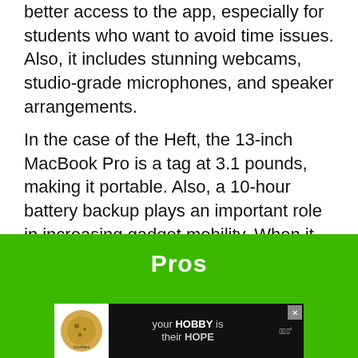better access to the app, especially for students who want to avoid time issues. Also, it includes stunning webcams, studio-grade microphones, and speaker arrangements.
In the case of the Heft, the 13-inch MacBook Pro is a tag at 3.1 pounds, making it portable. Also, a 10-hour battery backup plays an important role in increasing gadget mobility. When it comes to ports and connectivity specs, you'll find 2 Thunderbolt 3 slots. Those are a display port, USB 3.1 Gen 2 slot, and Wi-Fi 5 standard.
Pros
[Figure (other): Advertisement banner: cookies by kid cancer with 'your HOBBY is their HOPE' text and iHeartRadio logo, with close button]